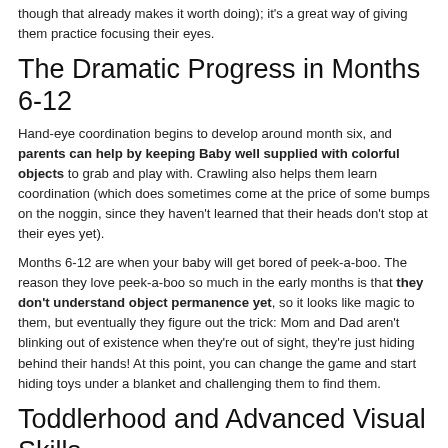though that already makes it worth doing); it's a great way of giving them practice focusing their eyes.
The Dramatic Progress in Months 6-12
Hand-eye coordination begins to develop around month six, and parents can help by keeping Baby well supplied with colorful objects to grab and play with. Crawling also helps them learn coordination (which does sometimes come at the price of some bumps on the noggin, since they haven't learned that their heads don't stop at their eyes yet).
Months 6-12 are when your baby will get bored of peek-a-boo. The reason they love peek-a-boo so much in the early months is that they don't understand object permanence yet, so it looks like magic to them, but eventually they figure out the trick: Mom and Dad aren't blinking out of existence when they're out of sight, they're just hiding behind their hands! At this point, you can change the game and start hiding toys under a blanket and challenging them to find them.
Toddlerhood and Advanced Visual Skills